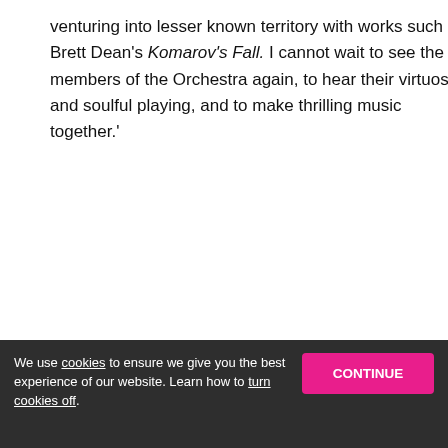venturing into lesser known territory with works such as Brett Dean's Komarov's Fall. I cannot wait to see the members of the Orchestra again, to hear their virtuosic and soulful playing, and to make thrilling music together.'
[Figure (screenshot): Disqus comment widget showing 'Comments for this thread are now closed' banner, tabs for Comments and Community, login button with notification badge showing 1, Favorite button with count 2, Sort by Best dropdown, and 'This discussion has been closed' message.]
We use cookies to ensure we give you the best experience of our website. Learn how to turn cookies off.
Subscribe  Do Not Sell My Data  DISQUS